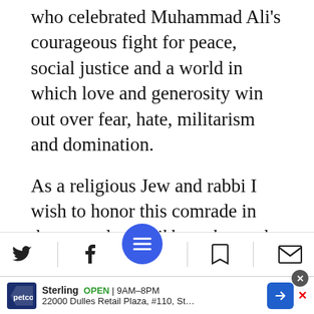who celebrated Muhammad Ali's courageous fight for peace, social justice and a world in which love and generosity win out over fear, hate, militarism and domination.
As a religious Jew and rabbi I wish to honor this comrade in the struggle for tikkun olam – the healing, repair and transformation of our world. And as a representative of the Jewish world I want to reaffirm our solidarity with Muslims around the world who are experiencing a grow[ing Isl]amophobia that
[Figure (screenshot): Mobile article reader bottom toolbar with social share icons (Twitter, Facebook), a blue circular menu button in the center, a bookmark icon, and an email/envelope icon.]
[Figure (screenshot): Petco advertisement banner showing store name Sterling, hours OPEN 9AM-8PM, address 22000 Dulles Retail Plaza, #110, Sterling, with Petco logo and navigation arrow.]